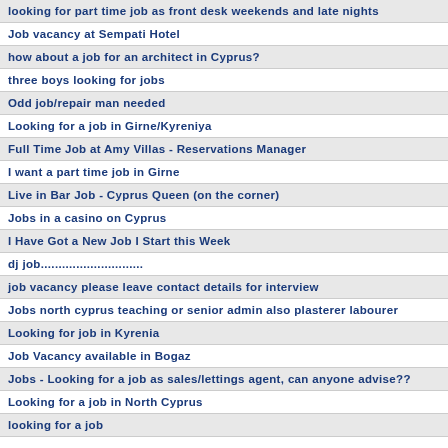looking for part time job as front desk weekends and late nights
Job vacancy at Sempati Hotel
how about a job for an architect in Cyprus?
three boys looking for jobs
Odd job/repair man needed
Looking for a job in Girne/Kyreniya
Full Time Job at Amy Villas - Reservations Manager
I want a part time job in Girne
Live in Bar Job - Cyprus Queen (on the corner)
Jobs in a casino on Cyprus
I Have Got a New Job I Start this Week
dj job.............................
job vacancy please leave contact details for interview
Jobs north cyprus teaching or senior admin also plasterer labourer
Looking for job in Kyrenia
Job Vacancy available in Bogaz
Jobs - Looking for a job as sales/lettings agent, can anyone advise??
Looking for a job in North Cyprus
looking for a job